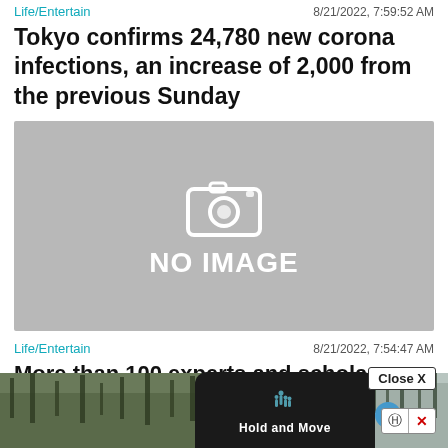Life/Entertain   8/21/2022, 7:59:52 AM
Tokyo confirms 24,780 new corona infections, an increase of 2,000 from the previous Sunday
[Figure (photo): Placeholder image with camera icon and text NO IMAGE on grey background]
Life/Entertain   8/21/2022, 7:54:47 AM
More than 100 experts and scholars gather in Sichuan to "check the pulse" for the protection of cave temples-China News
[Figure (screenshot): Bottom overlay showing a Hold and Move badge on dark background, Close X button, help/X icons, and background photos of trees]